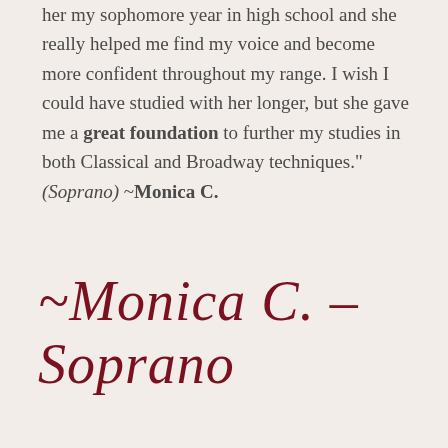her my sophomore year in high school and she really helped me find my voice and become more confident throughout my range. I wish I could have studied with her longer, but she gave me a great foundation to further my studies in both Classical and Broadway techniques." (Soprano) ~Monica C.
~Monica C. – Soprano